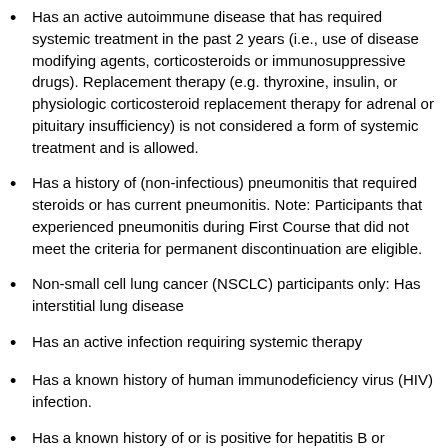Has an active autoimmune disease that has required systemic treatment in the past 2 years (i.e., use of disease modifying agents, corticosteroids or immunosuppressive drugs). Replacement therapy (e.g. thyroxine, insulin, or physiologic corticosteroid replacement therapy for adrenal or pituitary insufficiency) is not considered a form of systemic treatment and is allowed.
Has a history of (non-infectious) pneumonitis that required steroids or has current pneumonitis. Note: Participants that experienced pneumonitis during First Course that did not meet the criteria for permanent discontinuation are eligible.
Non-small cell lung cancer (NSCLC) participants only: Has interstitial lung disease
Has an active infection requiring systemic therapy
Has a known history of human immunodeficiency virus (HIV) infection.
Has a known history of or is positive for hepatitis B or hepatitis